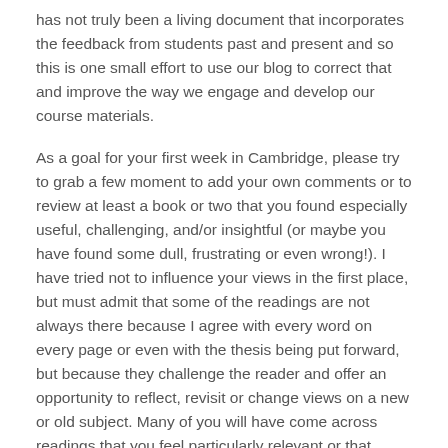has not truly been a living document that incorporates the feedback from students past and present and so this is one small effort to use our blog to correct that and improve the way we engage and develop our course materials.
As a goal for your first week in Cambridge, please try to grab a few moment to add your own comments or to review at least a book or two that you found especially useful, challenging, and/or insightful (or maybe you have found some dull, frustrating or even wrong!). I have tried not to influence your views in the first place, but must admit that some of the readings are not always there because I agree with every word on every page or even with the thesis being put forward, but because they challenge the reader and offer an opportunity to reflect, revisit or change views on a new or old subject. Many of you will have come across readings that you feel particularly relevant or that should have been on the list.  If so, please feel free to add some details at the end.
Summer Reading List 2013 for the MPhil in Technology Policy